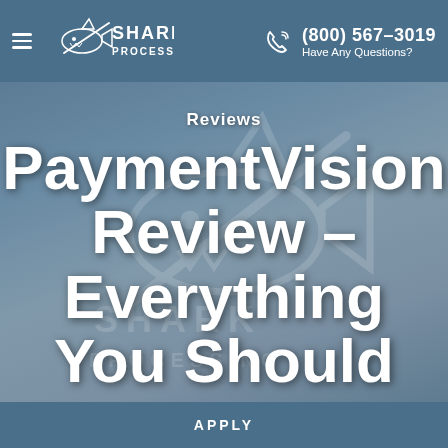Shark Processing — (800) 567-3019 Have Any Questions?
[Figure (screenshot): Shark Processing logo with shark icon and text 'SHARK PROCESSING']
Reviews
PaymentVision Review – Everything You Should
APPLY